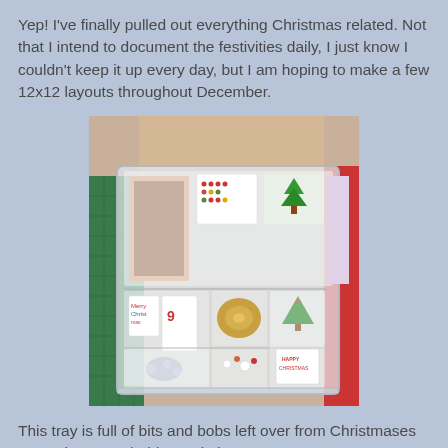Yep! I've finally pulled out everything Christmas related. Not that I intend to document the festivities daily, I just know I couldn't keep it up every day, but I am hoping to make a few 12x12 layouts throughout December.
[Figure (photo): A clear plastic storage tray/box filled with Christmas scrapbooking supplies including papers, embellishments, ribbons, twine, die-cuts, stickers, and small decorative items organized in compartments. The tray sits on a green cutting mat near a desk.]
This tray is full of bits and bobs left over from Christmases past. I hope, probably a vain hope, to use up as many as